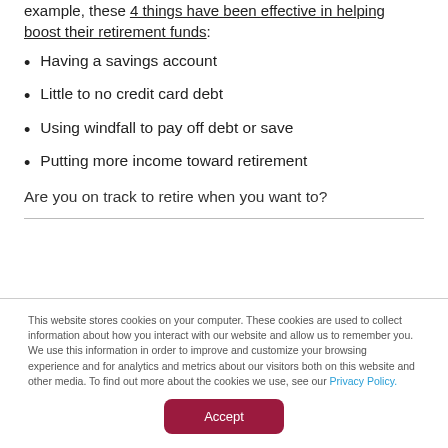example, these 4 things have been effective in helping boost their retirement funds:
Having a savings account
Little to no credit card debt
Using windfall to pay off debt or save
Putting more income toward retirement
Are you on track to retire when you want to?
This website stores cookies on your computer. These cookies are used to collect information about how you interact with our website and allow us to remember you. We use this information in order to improve and customize your browsing experience and for analytics and metrics about our visitors both on this website and other media. To find out more about the cookies we use, see our Privacy Policy.